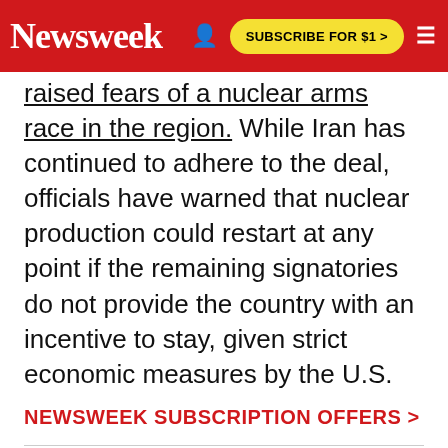Newsweek | SUBSCRIBE FOR $1 >
raised fears of a nuclear arms race in the region. While Iran has continued to adhere to the deal, officials have warned that nuclear production could restart at any point if the remaining signatories do not provide the country with an incentive to stay, given strict economic measures by the U.S.
NEWSWEEK SUBSCRIPTION OFFERS >
RELATED STORIES
Mike Pence Says Iran Is Planning 'New Holocaust'